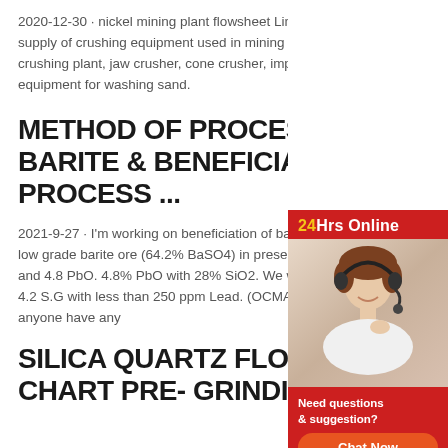2020-12-30 · nickel mining plant flowsheet Liming heavy industry is specialized in the design, manufacture and supply of crushing equipment used in mining industry. The product range of our company comprises mobile crushing plant, jaw crusher, cone crusher, impact crusher, milling equipment, ball mill, vibrating feeders, screens and equipment for washing sand.
METHOD OF PROCESSING BARITE & BENEFICIATION PROCESS ...
2021-9-27 · I'm working on beneficiation of barium low grade barite ore (64.2% BaSO4) in presence of and 4.8 PbO. 4.8% PbO with 28% SiO2. We want 4.2 S.G with less than 250 ppm Lead. (OCMA Standard) anyone have any
SILICA QUARTZ FLOWSHEET PRE- GRINDI...
[Figure (photo): Sidebar showing a customer service representative wearing a headset, with '24Hrs Online' header, 'Need questions & suggestion?' text, 'Chat Now' button, 'Enquiry' link, and 'limingjlmofen' link, all on a red background.]